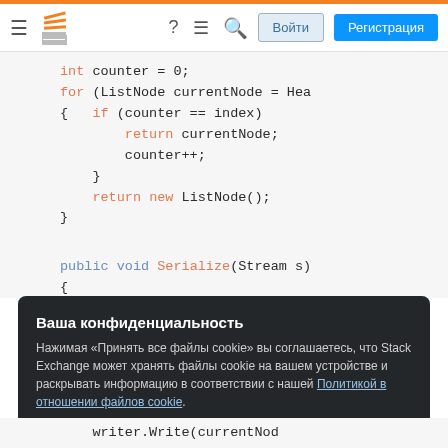Stack Overflow navigation bar with logo, icons, Войти and Регистрация buttons
[Figure (screenshot): Code snippet in C# showing counter/for-loop with ListNode, return statements, and Serialize method header with Dictionary]
Ваша конфиденциальность
Нажимая «Принять все файлы cookie» вы соглашаетесь, что Stack Exchange может хранить файлы cookie на вашем устройстве и раскрывать информацию в соответствии с нашей Политикой в отношении файлов cookie.
Принять все файлы cookie
Настроить параметры